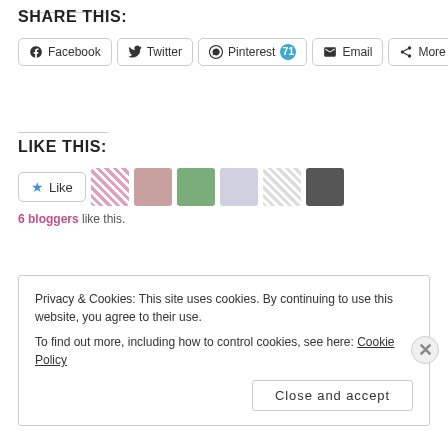SHARE THIS:
Facebook | Twitter | Pinterest 71 | Email | More
LIKE THIS:
Like | [6 blogger avatars]
6 bloggers like this.
Privacy & Cookies: This site uses cookies. By continuing to use this website, you agree to their use.
To find out more, including how to control cookies, see here: Cookie Policy
Close and accept